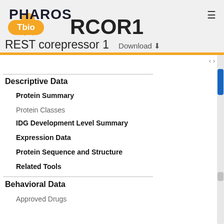[Figure (logo): Pharos logo with orange sun/wave emblem and bold text PHAROS]
RCOR1
Tbio
REST corepressor 1   Download ↓
Descriptive Data
Protein Summary
Protein Classes
IDG Development Level Summary
Expression Data
Protein Sequence and Structure
Related Tools
Behavioral Data
Approved Drugs